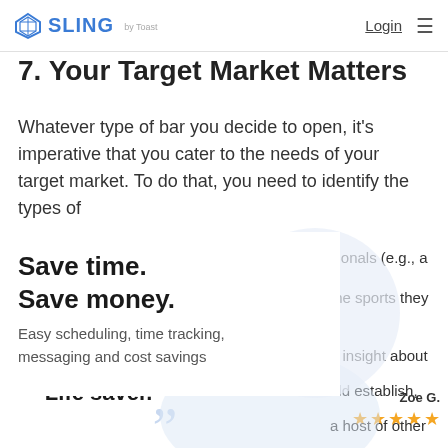SLING by Toast | Login
7. Your Target Market Matters
Whatever type of bar you decide to open, it's imperative that you cater to the needs of your target market. To do that, you need to identify the types of
Save time.
Save money.
Easy scheduling, time tracking, messaging and cost savings
sionals (e.g., a
the sports they
n insight about
uld establish,
a host of other
Zoe G.
★★★★★
“Life saver.